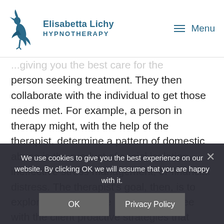Elisabetta Lichy HYPNOTHERAPY | Menu
...giving you the best care for the person seeking treatment. They then collaborate with the individual to get those needs met. For example, a person in therapy might, with the help of the therapist, determine a pattern of domestic abuse is the product of social isolation, ineffective stress management, or financial distress. The therapist's goal, then, is to explore each of these issues and agree with the client proactive strategies that address each issue by working on the thoughts and behaviours that...
We use cookies to give you the best experience on our website. By clicking OK we will assume that you are happy with it.